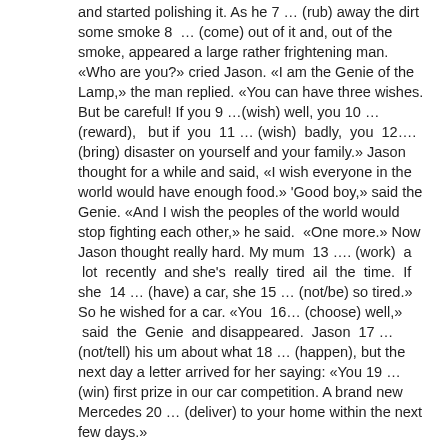and started polishing it. As he 7 … (rub) away the dirt some smoke 8 … (come) out of it and, out of the smoke, appeared a large rather frightening man. «Who are you?» cried Jason. «I am the Genie of the Lamp,» the man replied. «You can have three wishes. But be careful! If you 9 …(wish) well, you 10 … (reward),  but if  you  11 … (wish)  badly,  you  12…. (bring) disaster on yourself and your family.» Jason thought for a while and said, «I wish everyone in the world would have enough food.» 'Good boy,» said the Genie. «And I wish the peoples of the world would stop fighting each other,» he said.  «One more.» Now Jason thought really hard. My mum  13 …. (work)  a  lot  recently  and she's  really  tired  ail  the  time.  If she  14 … (have) a car, she 15 … (not/be) so tired.» So he wished for a car. «You  16… (choose) well,»  said  the  Genie  and disappeared.  Jason  17 … (not/tell) his um about what 18 … (happen), but the next day a letter arrived for her saying: «You 19 … (win) first prize in our car competition. A brand new Mercedes 20 … (deliver) to your home within the next few days.»